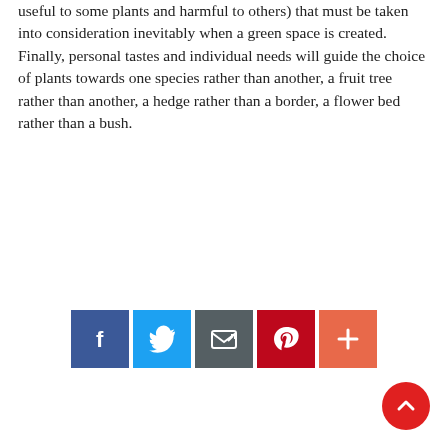useful to some plants and harmful to others) that must be taken into consideration inevitably when a green space is created. Finally, personal tastes and individual needs will guide the choice of plants towards one species rather than another, a fruit tree rather than another, a hedge rather than a border, a flower bed rather than a bush.
[Figure (other): A row of five social share buttons: Facebook (blue), Twitter (light blue), Email/share (dark grey), Pinterest (dark red), More/plus (orange-red)]
[Figure (other): A red circular scroll-to-top button with a white upward chevron arrow, positioned at bottom right]